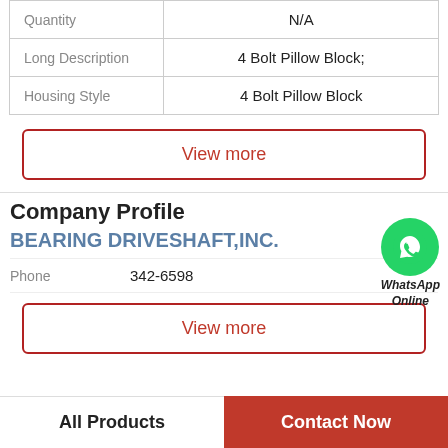|  |  |
| --- | --- |
| Quantity | N/A |
| Long Description | 4 Bolt Pillow Block; |
| Housing Style | 4 Bolt Pillow Block |
View more
[Figure (logo): WhatsApp Online green circle icon with phone handset, labeled WhatsApp Online]
Company Profile
BEARING DRIVESHAFT,INC.
| Phone | 342-6598 |
| --- | --- |
View more
All Products
Contact Now